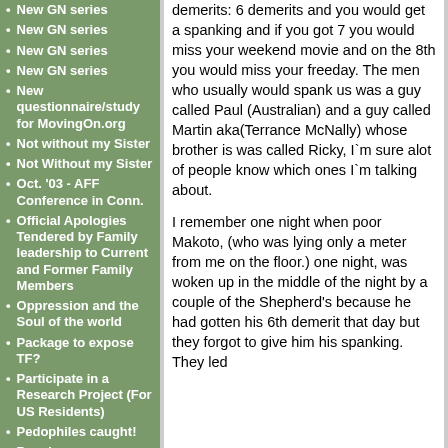New GN series
New GN series
New GN series
New GN series
New questionnaire/study for MovingOn.org
Not without my Sister
Not Without my Sister
Oct. '03 - AFF Conference in Conn.
Official Apologies Tendered by Family leadership to Current and Former Family Members
Oppression and the Soul of the world
Package to expose TF?
Participate in a Research Project (For US Residents)
Pedophiles caught!
People are so ignorant and still follow the uknown
Peter Amsterdam has a son and his name is Jon
demerits: 6 demerits and you would get a spanking and if you got 7 you would miss your weekend movie and on the 8th you would miss your freeday. The men who usually would spank us was a guy called Paul (Australian) and a guy called Martin aka(Terrance McNally) whose brother is was called Ricky, I`m sure alot of people know which ones I`m talking about.
I remember one night when poor Makoto, (who was lying only a meter from me on the floor.) one night, was woken up in the middle of the night by a couple of the Shepherd's because he had gotten his 6th demerit that day but they forgot to give him his spanking. They led